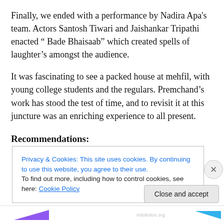Finally, we ended with a performance by Nadira Apa's team. Actors Santosh Tiwari and Jaishankar Tripathi enacted “ Bade Bhaisaab” which created spells of laughter’s amongst the audience.
It was fascinating to see a packed house at mehfil, with young college students and the regulars. Premchand’s work has stood the test of time, and to revisit it at this juncture was an enriching experience to all present.
Recommendations:
Privacy & Cookies: This site uses cookies. By continuing to use this website, you agree to their use.
To find out more, including how to control cookies, see here: Cookie Policy